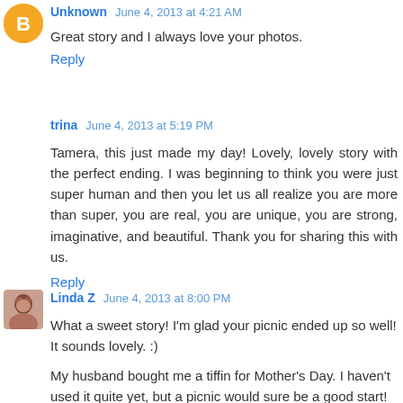Unknown June 4, 2013 at 4:21 AM
Great story and I always love your photos.
Reply
trina June 4, 2013 at 5:19 PM
Tamera, this just made my day! Lovely, lovely story with the perfect ending. I was beginning to think you were just super human and then you let us all realize you are more than super, you are real, you are unique, you are strong, imaginative, and beautiful. Thank you for sharing this with us.
Reply
Linda Z June 4, 2013 at 8:00 PM
What a sweet story! I'm glad your picnic ended up so well! It sounds lovely. :)
My husband bought me a tiffin for Mother's Day. I haven't used it quite yet, but a picnic would sure be a good start!